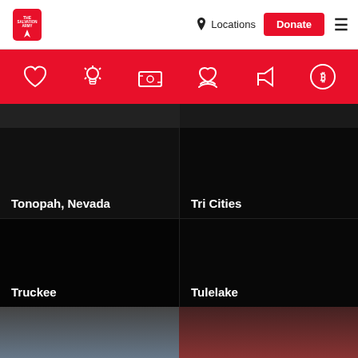The Salvation Army | Locations | Donate
[Figure (screenshot): Red navigation icon bar with heart, lightbulb, money, hands, megaphone, and bitcoin icons on red background]
[Figure (photo): Grid of location cards on black background: Tonopah Nevada, Tri Cities, Truckee, Tulelake]
Tonopah, Nevada
Tri Cities
Truckee
Tulelake